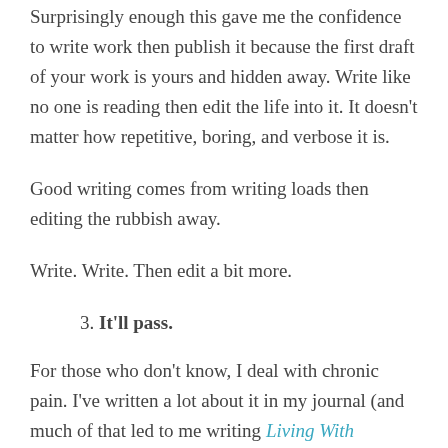Surprisingly enough this gave me the confidence to write work then publish it because the first draft of your work is yours and hidden away. Write like no one is reading then edit the life into it. It doesn't matter how repetitive, boring, and verbose it is.
Good writing comes from writing loads then editing the rubbish away.
Write. Write. Then edit a bit more.
3. It'll pass.
For those who don't know, I deal with chronic pain. I've written a lot about it in my journal (and much of that led to me writing Living With Chronic Pain) but I've also noticed that in the darkest times I've experienced, I've